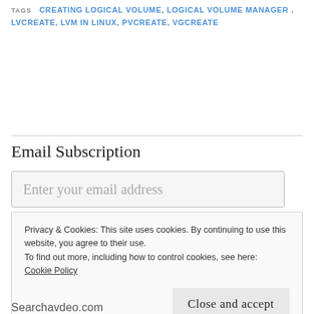TAGS  CREATING LOGICAL VOLUME, LOGICAL VOLUME MANAGER, LVCREATE, LVM IN LINUX, PVCREATE, VGCREATE
Email Subscription
Enter your email address
Privacy & Cookies: This site uses cookies. By continuing to use this website, you agree to their use. To find out more, including how to control cookies, see here: Cookie Policy
Close and accept
Searchavdeo.com